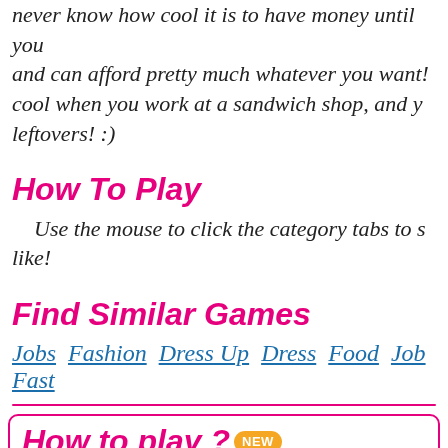never know how cool it is to have money until you and can afford pretty much whatever you want! cool when you work at a sandwich shop, and y leftovers! :)
How To Play
Use the mouse to click the category tabs to s like!
Find Similar Games
Jobs  Fashion  Dress Up  Dress  Food  Job  Fast
How to play ? NEW